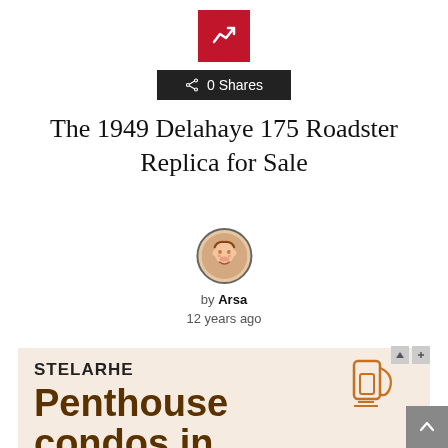[Figure (logo): Red square share/trending icon button]
0 Shares
The 1949 Delahaye 175 Roadster Replica for Sale
[Figure (illustration): Circular avatar icon showing a cartoon face]
by Arsa
12 years ago
[Figure (infographic): Advertisement banner for STELARHE Penthouse condos in, with an orange cup illustration]